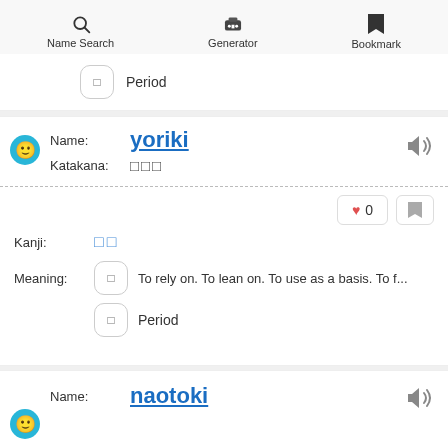Name Search  Generator  Bookmark
Period
Name: yoriki
Katakana: □□□
Kanji: □□
Meaning: To rely on. To lean on. To use as a basis. To f...
Period
♥ 0
Name: naotoki